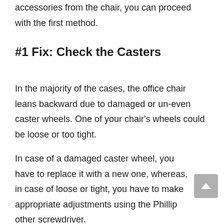accessories from the chair, you can proceed with the first method.
#1 Fix: Check the Casters
In the majority of the cases, the office chair leans backward due to damaged or un-even caster wheels. One of your chair's wheels could be loose or too tight.
In case of a damaged caster wheel, you have to replace it with a new one, whereas, in case of loose or tight, you have to make appropriate adjustments using the Phillip other screwdriver.